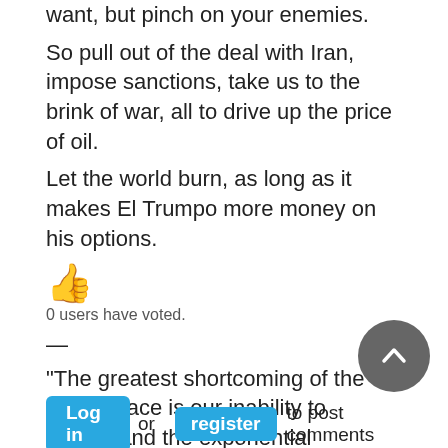want, but pinch on your enemies.
So pull out of the deal with Iran, impose sanctions, take us to the brink of war, all to drive up the price of oil.
Let the world burn, as long as it makes El Trumpo more money on his options.
[Figure (other): Thumbs up emoji (orange)]
0 users have voted.
—
"The greatest shortcoming of the human race is our inability to understand the exponential function." -- Albert Bartlett
"A species that is hurtling toward extinction has no business promoting slow incremental change." -- Caitlin Johnstone
[Figure (other): Scroll to top circular grey button with upward chevron arrow]
Log in or register to post comments